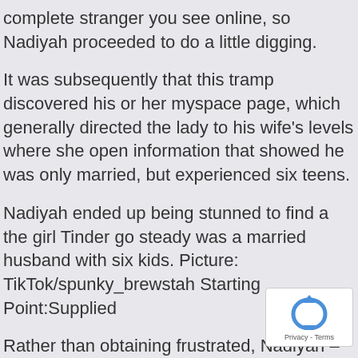complete stranger you see online, so Nadiyah proceeded to do a little digging.
It was subsequently that this tramp discovered his or her myspace page, which generally directed the lady to his wife's levels where she open information that showed he was only married, but experienced six teens.
Nadiyah ended up being stunned to find a the girl Tinder go steady was a married husband with six kids. Picture: TikTok/spunky_brewstah Starting Point:Supplied
Rather than obtaining frustrated, Nadiyah – exactly lives in Atlanta – thought to create even, showing